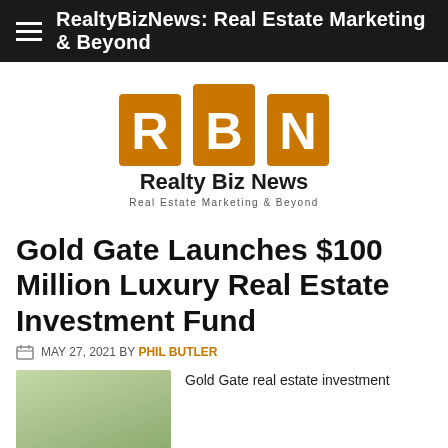RealtyBizNews: Real Estate Marketing & Beyond
[Figure (logo): RealtyBizNews RBN logo with orange square letter blocks R, B, N and text 'Realty Biz News — Real Estate Marketing & Beyond']
Gold Gate Launches $100 Million Luxury Real Estate Investment Fund
MAY 27, 2021 BY PHIL BUTLER
[Figure (photo): Partial photo of a person outdoors]
Gold Gate real estate investment